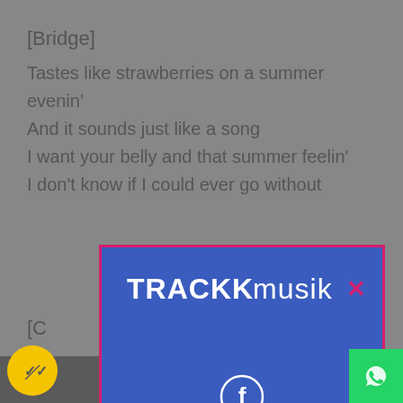[Bridge]
Tastes like strawberries on a summer evenin'
And it sounds just like a song
I want your belly and that summer feelin'
I don't know if I could ever go without
[C...
[Figure (screenshot): TRACKmusik overlay advertisement on blue background with Facebook icon and 'LIKE NOUS: @TrackmusikFr' text with diagonal stripe pattern]